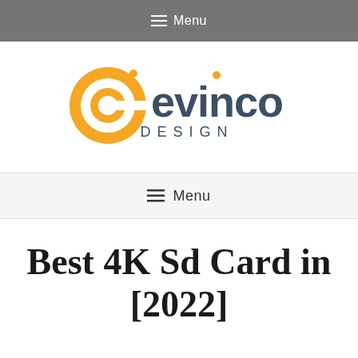☰ Menu
[Figure (logo): Evinco Design logo: golden/orange circular 'e' icon with crosshair symbol, next to dark gray 'evinco' wordmark with 'DESIGN' beneath in spaced capitals]
☰ Menu
Best 4K Sd Card in [2022]